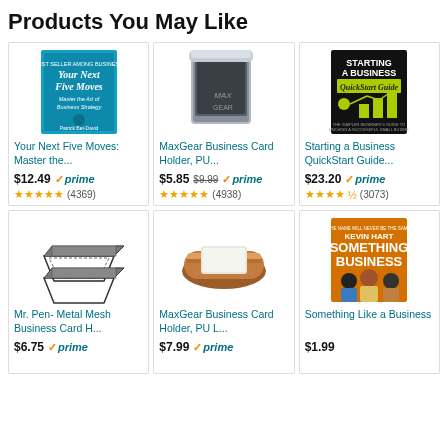Products You May Like
[Figure (photo): Book cover: Your Next Five Moves by Patrick Bet-David]
Your Next Five Moves: Master the...
$12.49 prime
★★★★★ (4369)
[Figure (photo): MaxGear Business Card Holder silver metal product]
MaxGear Business Card Holder, PU...
$5.85 $9.99 prime
★★★★★ (4938)
[Figure (photo): Book cover: Starting a Business QuickStart Guide]
Starting a Business QuickStart Guide...
$23.20 prime
★★★★☆ (3073)
[Figure (photo): Mr. Pen metal mesh business card holder set of 4]
Mr. Pen- Metal Mesh Business Card H...
$6.75 prime
[Figure (photo): MaxGear Business Card Holder brown leather]
MaxGear Business Card Holder, PU L...
$7.99 prime
[Figure (photo): Movie cover: Something Like a Business with Kevin Hart]
Something Like a Business
$1.99